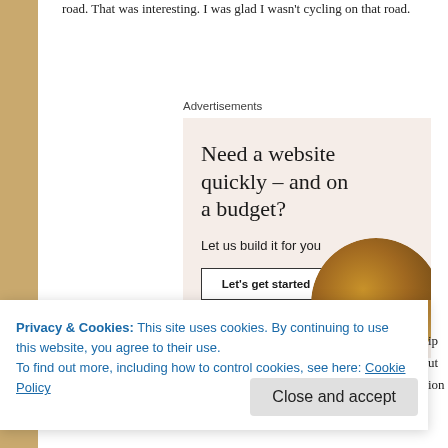road. That was interesting. I was glad I wasn't cycling on that road.
Advertisements
[Figure (infographic): Advertisement banner with beige/blush background. Headline: 'Need a website quickly – and on a budget?' Subtext: 'Let us build it for you'. Button: 'Let's get started'. Circular photo of person's hands on laptop on the right side.]
Privacy & Cookies: This site uses cookies. By continuing to use this website, you agree to their use.
To find out more, including how to control cookies, see here: Cookie Policy
Close and accept